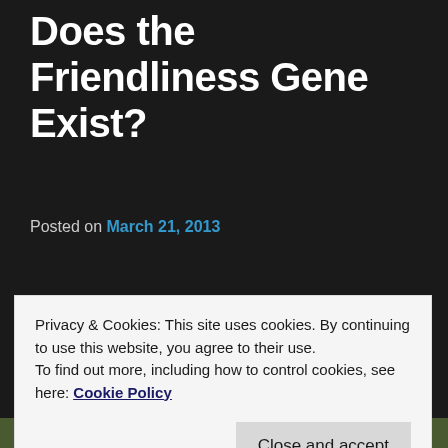Does the Friendliness Gene Exist?
Posted on March 21, 2013
Last Summer I wrote about a pair of whitetail fawns growing up in the field beyond the local Elks Lodge. The Lodge sits on one side of a hollow at the base of Pine Mountain, my house is at the top of the mountain,  and my road meanders down the side opposite from the Lodge. There is a large whitetail herd and it's not uncommon to see the same deer at any spot along the mountain.
Privacy & Cookies: This site uses cookies. By continuing to use this website, you agree to their use.
To find out more, including how to control cookies, see here: Cookie Policy